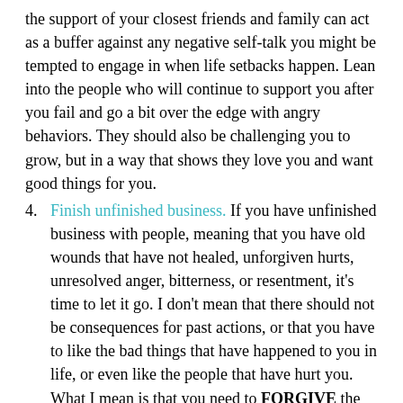the support of your closest friends and family can act as a buffer against any negative self-talk you might be tempted to engage in when life setbacks happen. Lean into the people who will continue to support you after you fail and go a bit over the edge with angry behaviors. They should also be challenging you to grow, but in a way that shows they love you and want good things for you.
4. Finish unfinished business. If you have unfinished business with people, meaning that you have old wounds that have not healed, unforgiven hurts, unresolved anger, bitterness, or resentment, it's time to let it go. I don't mean that there should not be consequences for past actions, or that you have to like the bad things that have happened to you in life, or even like the people that have hurt you. What I mean is that you need to FORGIVE the people who have hurt you. (For a post all about forgiveness, click here). This means that you need to let go of emotional hurts from old wounds. Feelings serve a purpose in that they are informative, and